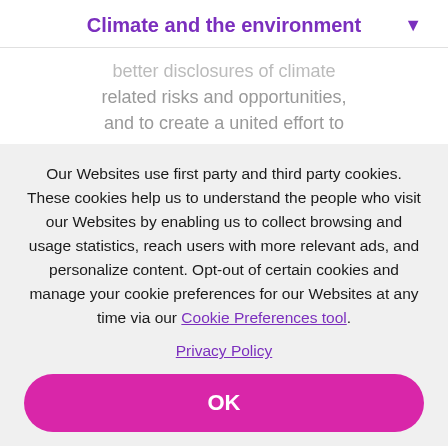Climate and the environment
better disclosures of climate related risks and opportunities, and to create a united effort to
Our Websites use first party and third party cookies. These cookies help us to understand the people who visit our Websites by enabling us to collect browsing and usage statistics, reach users with more relevant ads, and personalize content. Opt-out of certain cookies and manage your cookie preferences for our Websites at any time via our Cookie Preferences tool.
Privacy Policy
OK